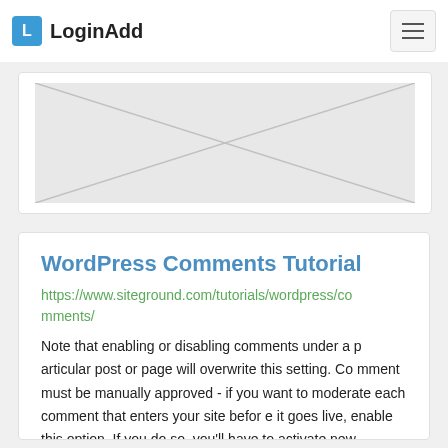LoginAdd
[Figure (photo): Placeholder image with diagonal lines indicating a missing or loading image]
WordPress Comments Tutorial
https://www.siteground.com/tutorials/wordpress/comments/
Note that enabling or disabling comments under a particular post or page will overwrite this setting. Comment must be manually approved - if you want to moderate each comment that enters your site before it goes live, enable this option. If you do so, you'll have to activate new comments form the Comment